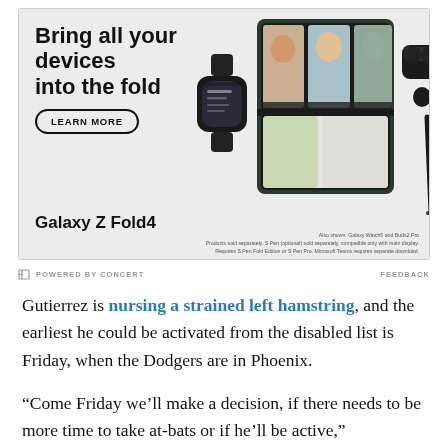[Figure (illustration): Samsung Galaxy Z Fold4 advertisement banner showing the headline 'Bring all your devices into the fold', a LEARN MORE button, and product images of Galaxy Watch5, Galaxy Z Fold4 (showing Microsoft Teams video call), Buds2 Pro earbuds, and an S Pen stylus on a light gray background.]
Also shown: Galaxy Watch5 and Buds2 Pro. Products sold separately. S Pen (optional) sold separately, compatible only with main display. Requires S Pen Fold Edition or S Pen Pro. Microsoft Teams requires separate download.
POWERED BY CONCERT   FEEDBACK
Gutierrez is nursing a strained left hamstring, and the earliest he could be activated from the disabled list is Friday, when the Dodgers are in Phoenix.
“Come Friday we’ll make a decision, if there needs to be more time to take at-bats or if he’ll be active,”